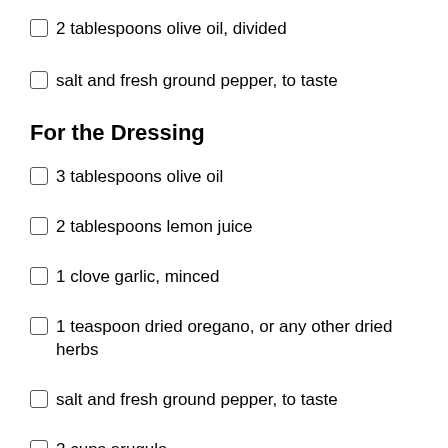2 tablespoons olive oil, divided
salt and fresh ground pepper, to taste
For the Dressing
3 tablespoons olive oil
2 tablespoons lemon juice
1 clove garlic, minced
1 teaspoon dried oregano, or any other dried herbs
salt and fresh ground pepper, to taste
2 cups arugula